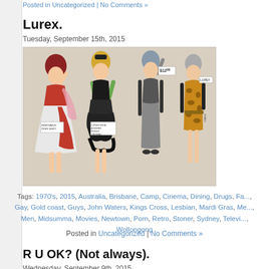Posted in Uncategorized | No Comments »
Lurex.
Tuesday, September 15th, 2015
[Figure (illustration): Vintage 1970s fashion illustration showing four women in glamorous dresses including a red and white gown, a black ruffled dress, a grey pencil skirt with blue bow, and a leopard print dress. Price tag showing $12.99 visible. Labels include 'REMOVABLE OVER SHIRT' and 'COPIED FROM A HIGHER PRICED ORIGINAL'. Text 'LUREX' visible at right edge.]
Tags: 1970's, 2015, Australia, Brisbane, Camp, Cinema, Dining, Drugs, Fa..., Gay, Gold coast, Guys, John Waters, Kings Cross, Lesbian, Mardi Gras, Me..., Men, Midsumma, Movies, Newtown, Porn, Retro, Stoner, Sydney, Televi..., Wollongong
Posted in Uncategorized | No Comments »
R U OK? (Not always).
Wednesday, September 9th, 2015